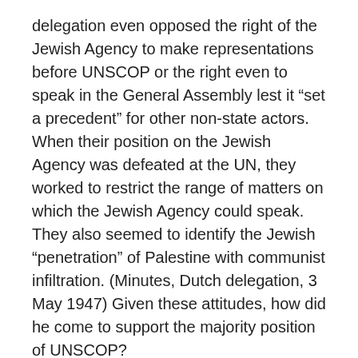delegation even opposed the right of the Jewish Agency to make representations before UNSCOP or the right even to speak in the General Assembly lest it “set a precedent” for other non-state actors. When their position on the Jewish Agency was defeated at the UN, they worked to restrict the range of matters on which the Jewish Agency could speak. They also seemed to identify the Jewish “penetration” of Palestine with communist infiltration. (Minutes, Dutch delegation, 3 May 1947) Given these attitudes, how did he come to support the majority position of UNSCOP?
On 25 March 1947, the Linggadjati Agreement was implemented to provide for a cessation of military hostilities in Indonesia. The United States of Indonesia, consisting of the Republic of Indonesia (Java, Madura, Sumatra) and Borneo, was to be established. However,